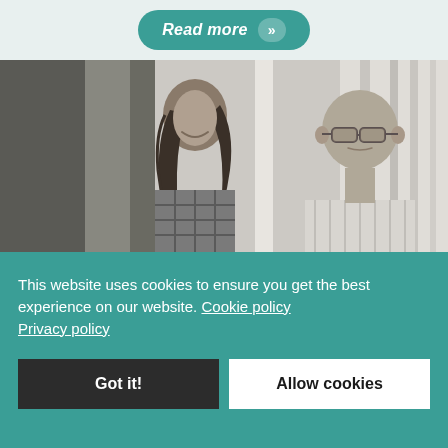[Figure (other): A teal pill-shaped 'Read more' button with chevron arrows on a light grey/green background at the top of the page]
[Figure (photo): Black and white photograph of two people: a smiling woman with long dark hair wearing a plaid shirt on the left, and an older bald man wearing glasses and a striped shirt on the right, sitting on what appears to be a porch]
This website uses cookies to ensure you get the best experience on our website. Cookie policy Privacy policy
Got it!
Allow cookies